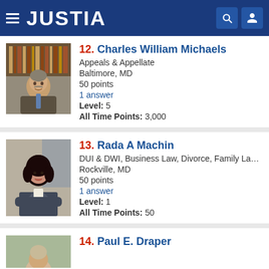JUSTIA
12. Charles William Michaels
Appeals & Appellate
Baltimore, MD
50 points
1 answer
Level: 5
All Time Points: 3,000
13. Rada A Machin
DUI & DWI, Business Law, Divorce, Family Law,...
Rockville, MD
50 points
1 answer
Level: 1
All Time Points: 50
14. Paul E. Draper